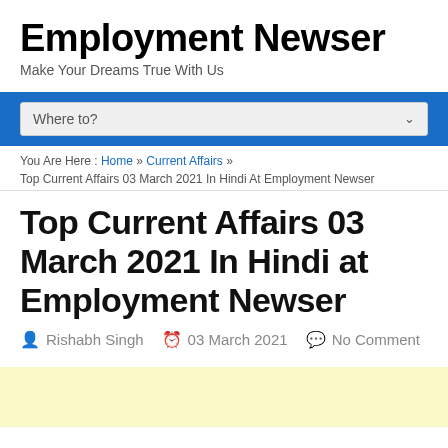Employment Newser
Make Your Dreams True With Us
Where to?
You Are Here : Home » Current Affairs »
Top Current Affairs 03 March 2021 In Hindi At Employment Newser
Top Current Affairs 03 March 2021 In Hindi at Employment Newser
Rishabh Singh  03 March 2021  No Comment
[Figure (other): Yellow advertisement banner area]